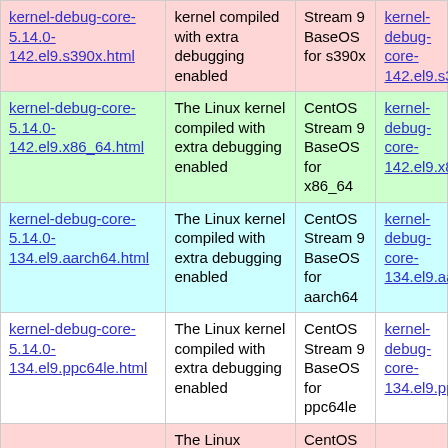| Name | Description | Repository | Download |
| --- | --- | --- | --- |
| kernel-debug-core-5.14.0-142.el9.s390x.html | The Linux kernel compiled with extra debugging enabled | CentOS Stream 9 BaseOS for s390x | kernel-debug-core-142.el9.s390x.rpm |
| kernel-debug-core-5.14.0-142.el9.x86_64.html | The Linux kernel compiled with extra debugging enabled | CentOS Stream 9 BaseOS for x86_64 | kernel-debug-core-142.el9.x86_64.rpm |
| kernel-debug-core-5.14.0-134.el9.aarch64.html | The Linux kernel compiled with extra debugging enabled | CentOS Stream 9 BaseOS for aarch64 | kernel-debug-core-134.el9.aarch64.rpm |
| kernel-debug-core-5.14.0-134.el9.ppc64le.html | The Linux kernel compiled with extra debugging enabled | CentOS Stream 9 BaseOS for ppc64le | kernel-debug-core-134.el9.ppc64le.rpm |
| ... | The Linux | CentOS | ... |